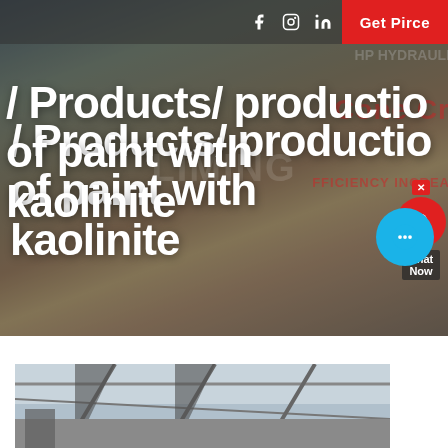[Figure (photo): Industrial machinery/crusher equipment at an outdoor mining or quarrying site, hero banner image with overlaid text and navigation elements]
/ Products/ production of paint with kaolinite
[Figure (photo): Interior of an industrial building showing roof structure/trusses, partial view at bottom of page]